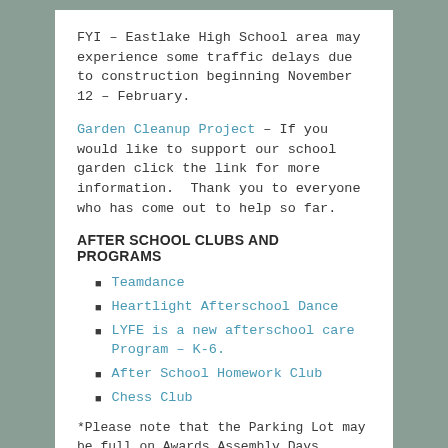FYI – Eastlake High School area may experience some traffic delays due to construction beginning November 12 – February.
Garden Cleanup Project – If you would like to support our school garden click the link for more information.  Thank you to everyone who has come out to help so far.
AFTER SCHOOL CLUBS AND  PROGRAMS
Teamdance
Heartlight Afterschool Dance
LYFE is a new afterschool care Program – K-6.
After School Homework Club
Chess Club
*Please note that the Parking Lot may be full on Awards Assembly Days
Winter Break – December 23 – January 13 NO SCHOOL – School